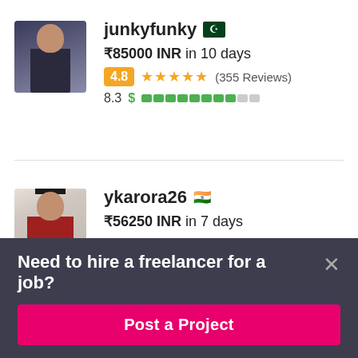[Figure (photo): Profile photo of freelancer junkyfunky - man in suit]
junkyfunky 🇵🇰
₹85000 INR in 10 days
4.8 ★★★★★ (355 Reviews)
8.3 $ ████████░░
[Figure (photo): Profile photo of freelancer ykarora26 - person in red/grey jacket]
ykarora26 🇮🇳
₹56250 INR in 7 days
Need to hire a freelancer for a job?
Post a Project